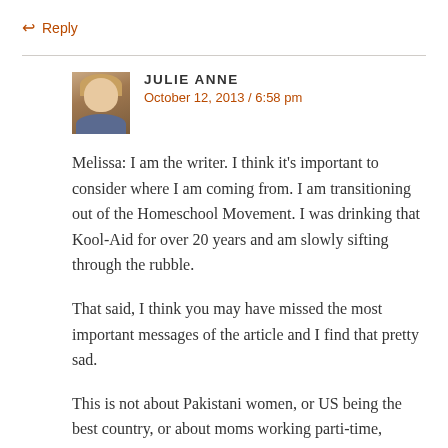← Reply
JULIE ANNE
October 12, 2013 / 6:58 pm
Melissa: I am the writer. I think it's important to consider where I am coming from. I am transitioning out of the Homeschool Movement. I was drinking that Kool-Aid for over 20 years and am slowly sifting through the rubble.
That said, I think you may have missed the most important messages of the article and I find that pretty sad.
This is not about Pakistani women, or US being the best country, or about moms working parti-time,